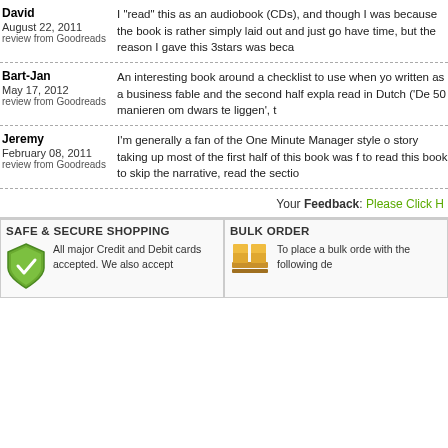David
August 22, 2011
review from Goodreads
I "read" this as an audiobook (CDs), and though I was... because the book is rather simply laid out and just go... have time, but the reason I gave this 3stars was beca...
Bart-Jan
May 17, 2012
review from Goodreads
An interesting book around a checklist to use when yo... written as a business fable and the second half expla... read in Dutch ('De 50 manieren om dwars te liggen', t...
Jeremy
February 08, 2011
review from Goodreads
I'm generally a fan of the One Minute Manager style o... story taking up most of the first half of this book was f... to read this book to skip the narrative, read the sectio...
Your Feedback: Please Click H
SAFE & SECURE SHOPPING
All major Credit and Debit cards accepted. We also accept
BULK ORDER
To place a bulk orde... with the following de...